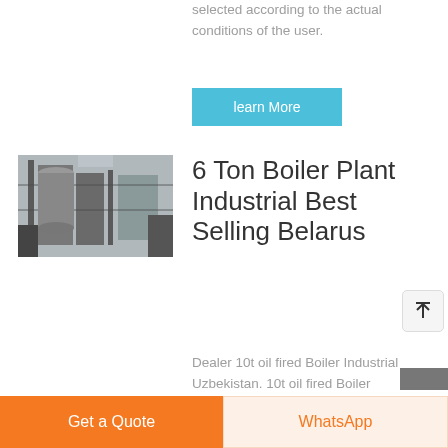selected according to the actual conditions of the user.
learn More
[Figure (photo): Industrial boiler plant facility interior showing large boiler equipment and metal structures]
6 Ton Boiler Plant Industrial Best Selling Belarus
Dealer 10t oil fired Boiler Industrial Uzbekistan. 10t oil fired Boiler Energy
Get a Quote
WhatsApp